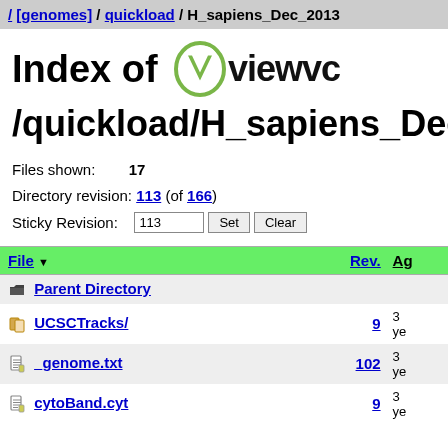/ [genomes] / quickload / H_sapiens_Dec_2013
Index of  viewvc
/quickload/H_sapiens_Dec_2
Files shown: 17
Directory revision: 113 (of 166)
Sticky Revision: 113  Set  Clear
| File | Rev. | Ag |
| --- | --- | --- |
| Parent Directory |  |  |
| UCSCTracks/ | 9 | 3 ye |
| _genome.txt | 102 | 3 ye |
| cytoBand.cyt | 9 | 3 ye |